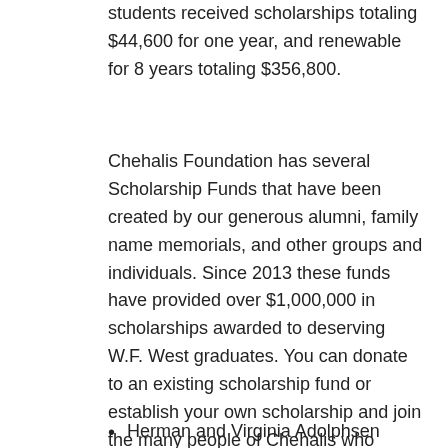students received scholarships totaling $44,600 for one year, and renewable for 8 years totaling $356,800.
Chehalis Foundation has several Scholarship Funds that have been created by our generous alumni, family name memorials, and other groups and individuals. Since 2013 these funds have provided over $1,000,000 in scholarships awarded to deserving W.F. West graduates. You can donate to an existing scholarship fund or establish your own scholarship and join the many people of Chehalis who support education and career training beyond high school for our graduating seniors.
Herman and Virginia Adolphsen